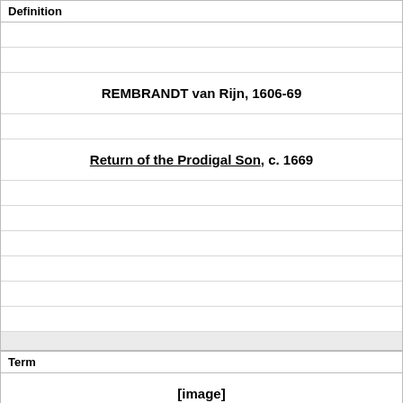Definition
REMBRANDT van Rijn, 1606-69
Return of the Prodigal Son, c. 1669
Term
[Figure (other): [image] placeholder for an image in the Term section]